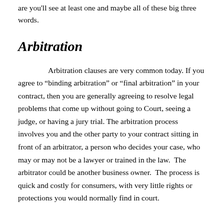are you'll see at least one and maybe all of these big three words.
Arbitration
Arbitration clauses are very common today. If you agree to “binding arbitration” or “final arbitration” in your contract, then you are generally agreeing to resolve legal problems that come up without going to Court, seeing a judge, or having a jury trial. The arbitration process involves you and the other party to your contract sitting in front of an arbitrator, a person who decides your case, who may or may not be a lawyer or trained in the law. The arbitrator could be another business owner. The process is quick and costly for consumers, with very little rights or protections you would normally find in court.